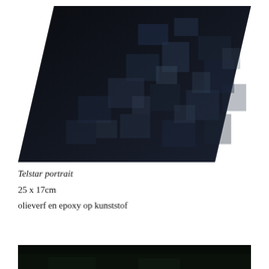[Figure (photo): A dark nearly black artwork showing a pixelated or blocky pattern in dark blues and blacks, shaped as a parallelogram/hexagonal-cut rectangle — oil paint and epoxy on plastic.]
Telstar portrait
25 x 17cm
olieverf en epoxy op kunststof
[Figure (photo): Bottom edge of another dark artwork, partially visible at the bottom of the page — appears very dark/black with slight greenish tones.]